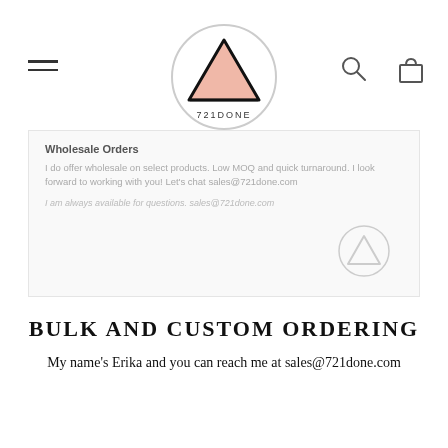[Figure (logo): 721DONE logo: triangle with pink fill inside a circle, with text 721DONE below]
Wholesale Orders
I do offer wholesale on select products. Low MOQ and quick turnaround. I look forward to working with you! Let's chat sales@721done.com
I am always available for questions. sales@721done.com
BULK AND CUSTOM ORDERING
My name's Erika and you can reach me at sales@721done.com